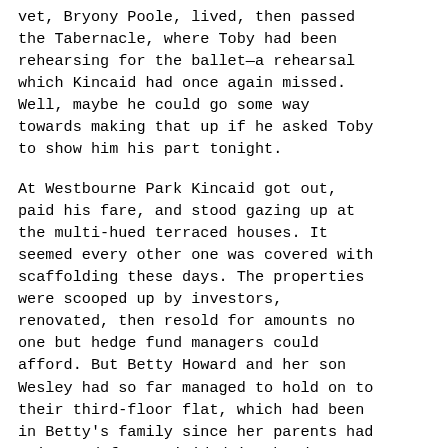vet, Bryony Poole, lived, then passed the Tabernacle, where Toby had been rehearsing for the ballet—a rehearsal which Kincaid had once again missed. Well, maybe he could go some way towards making that up if he asked Toby to show him his part tonight.
At Westbourne Park Kincaid got out, paid his fare, and stood gazing up at the multi-hued terraced houses. It seemed every other one was covered with scaffolding these days. The properties were scooped up by investors, renovated, then resold for amounts no one but hedge fund managers could afford. But Betty Howard and her son Wesley had so far managed to hold on to their third-floor flat, which had been in Betty's family since her parents had emigrated from Trinidad in the days when the notorious slumlord Peter